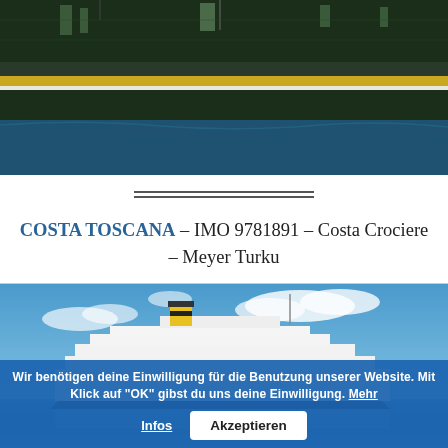[Figure (photo): Top portion of a large dark green ship hull with yellow trim visible above blue ocean water, viewed from a low angle]
COSTA TOSCANA – IMO 9781891 – Costa Crociere – Meyer Turku
[Figure (photo): Cruise ship Costa Toscana with white hull and yellow funnel sailing on blue ocean under partly cloudy sky, with a cookie consent banner overlay reading: Wir benötigen deine Einwilligung für die Benutzung unserer Website. Mit Klick auf "OK" gibst du uns deine Einwilligung. Mehr Infos | Akzeptieren]